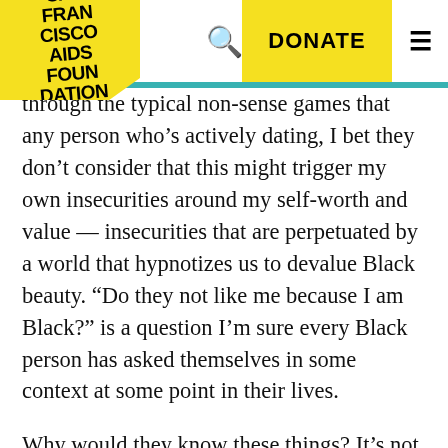San Francisco AIDS Foundation — DONATE
through the typical non-sense games that any person who’s actively dating, I bet they don’t consider that this might trigger my own insecurities around my self-worth and value — insecurities that are perpetuated by a world that hypnotizes us to devalue Black beauty. “Do they not like me because I am Black?” is a question I’m sure every Black person has asked themselves in some context at some point in their lives.
Why would they know these things? It’s not their fault that the world is organized in a way that these experiences are not visible for them. Sometimes it’s possible to be guilty and innocent at the same time; the innocence creates the guilt. Absence of